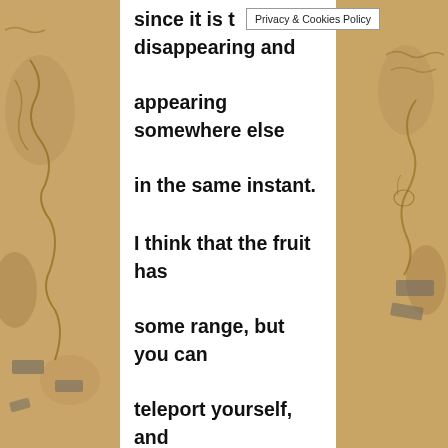[Figure (illustration): Parchment/map background panels on left and right sides of the page with hand-drawn map elements including coastlines, dashed lines, and geographic markings in brown and gray tones]
since it is t disappearing and appearing somewhere else in the same instant.
Privacy & Cookies Policy
I think that the fruit has some range, but you can teleport yourself, and everything you grab/touch, that would explain his sudden appearance near Higuma's man, and it means that he might have teleported the Red-Hair's entire ship quickly,